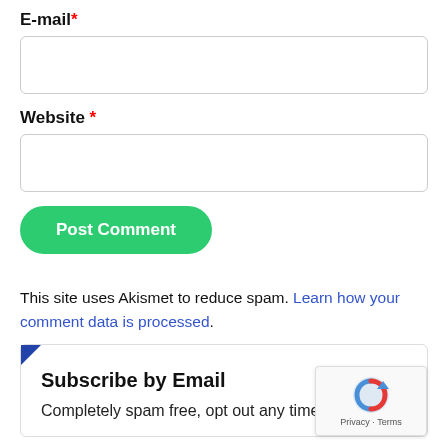E-mail*
[Figure (other): Empty text input field for E-mail]
Website *
[Figure (other): Empty text input field for Website]
[Figure (other): Green rounded button labeled Post Comment]
This site uses Akismet to reduce spam. Learn how your comment data is processed.
Subscribe by Email
Completely spam free, opt out any time.
[Figure (logo): reCAPTCHA badge with Privacy and Terms text]